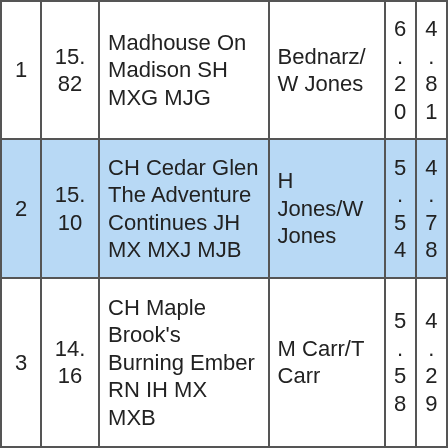| 1 | 15.82 | Madhouse On Madison SH MXG MJG | Bednarz/W Jones | 6.20 | 4.81 |
| 2 | 15.10 | CH Cedar Glen The Adventure Continues JH MX MXJ MJB | H Jones/W Jones | 5.54 | 4.78 |
| 3 | 14.16 | CH Maple Brook's Burning Ember RN IH MX MXB | M Carr/T Carr | 5.58 | 4.29 |